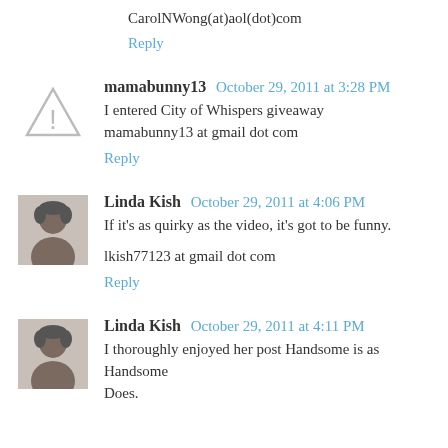CarolNWong(at)aol(dot)com
Reply
mamabunny13  October 29, 2011 at 3:28 PM
I entered City of Whispers giveaway mamabunny13 at gmail dot com
Reply
Linda Kish  October 29, 2011 at 4:06 PM
If it's as quirky as the video, it's got to be funny.
lkish77123 at gmail dot com
Reply
Linda Kish  October 29, 2011 at 4:11 PM
I thoroughly enjoyed her post Handsome is as Handsome Does.